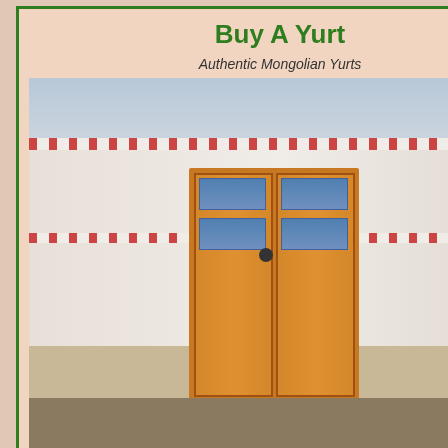[Figure (illustration): Advertisement for 'Buy A Yurt' showing a Mongolian yurt with ornate wooden door, subtitle 'Authentic Mongolian Yurts', green border]
NATURAL AWAKENINGS
[Figure (photo): Natural Awakenings magazine cover showing the magazine at an angle with pink/magenta colors, text includes 'HEALTHY LIVING HEALTHY PLANET', 'natural awakenings', 'FREE', 'FITNESS Special Edition', 'RGING']
struggle bring you dow...
I was fairly surprised t... time I can say that I lo... wince.
Wednesday, July 0...
Neko Kinoshita said...
Echos keep bouncing...
I too, have seen a num... innocent puppies and...
We fired a few morters... but we spent more tim... the document, rather t...
Scroll to Top